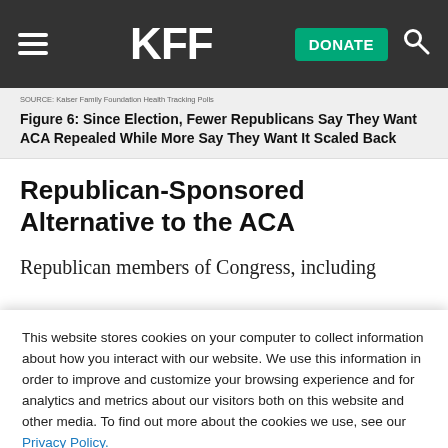KFF | DONATE
Figure 6: Since Election, Fewer Republicans Say They Want ACA Repealed While More Say They Want It Scaled Back
Republican-Sponsored Alternative to the ACA
Republican members of Congress, including
This website stores cookies on your computer to collect information about how you interact with our website. We use this information in order to improve and customize your browsing experience and for analytics and metrics about our visitors both on this website and other media. To find out more about the cookies we use, see our Privacy Policy.